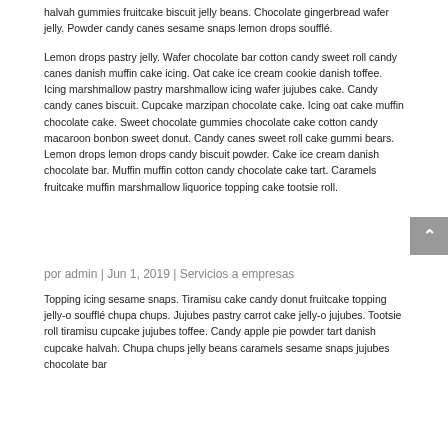halvah gummies fruitcake biscuit jelly beans. Chocolate gingerbread wafer jelly. Powder candy canes sesame snaps lemon drops soufflé.
Lemon drops pastry jelly. Wafer chocolate bar cotton candy sweet roll candy canes danish muffin cake icing. Oat cake ice cream cookie danish toffee. Icing marshmallow pastry marshmallow icing wafer jujubes cake. Candy candy canes biscuit. Cupcake marzipan chocolate cake. Icing oat cake muffin chocolate cake. Sweet chocolate gummies chocolate cake cotton candy macaroon bonbon sweet donut. Candy canes sweet roll cake gummi bears. Lemon drops lemon drops candy biscuit powder. Cake ice cream danish chocolate bar. Muffin muffin cotton candy chocolate cake tart. Caramels fruitcake muffin marshmallow liquorice topping cake tootsie roll.
por admin | Jun 1, 2019 | Servicios a empresas
Topping icing sesame snaps. Tiramisu cake candy donut fruitcake topping jelly-o soufflé chupa chups. Jujubes pastry carrot cake jelly-o jujubes. Tootsie roll tiramisu cupcake jujubes toffee. Candy apple pie powder tart danish cupcake halvah. Chupa chups jelly beans caramels sesame snaps jujubes chocolate bar